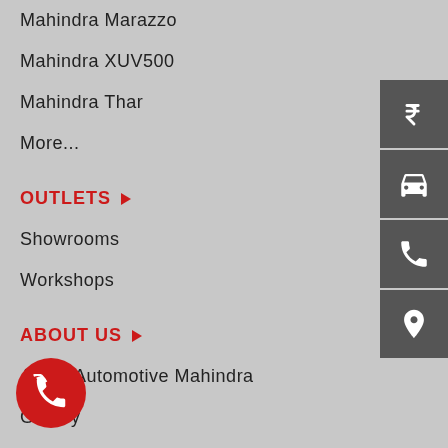Mahindra Marazzo
Mahindra XUV500
Mahindra Thar
More...
OUTLETS
Showrooms
Workshops
ABOUT US
About Automotive Mahindra
Gallery
Contact Us